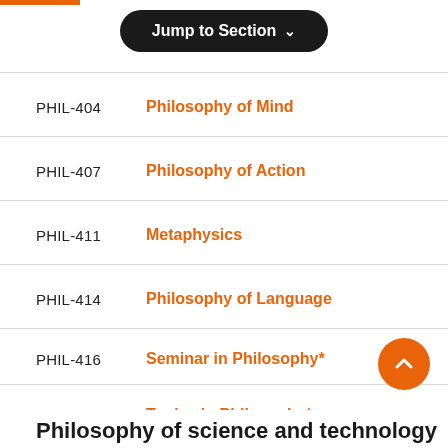[Figure (other): Orange accent bar at top left]
[Figure (other): Jump to Section dropdown button (black pill/capsule shaped button)]
PHIL-404  Philosophy of Mind
PHIL-407  Philosophy of Action
PHIL-411  Metaphysics
PHIL-414  Philosophy of Language
PHIL-416  Seminar in Philosophy*
PHIL-449  Topics in Philosophy*
Philosophy of science and technology